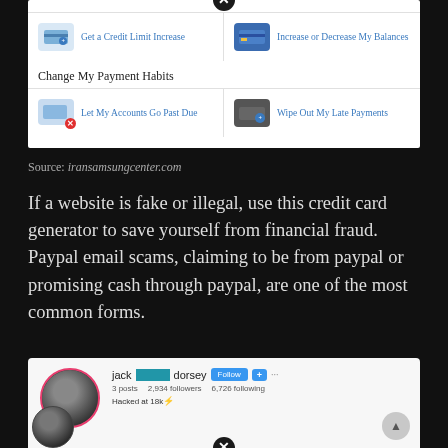[Figure (screenshot): Screenshot of a credit card simulation website showing menu options: Get a Credit Limit Increase, Increase or Decrease My Balances, Change My Payment Habits, Let My Accounts Go Past Due, Wipe Out My Late Payments]
Source: iransamsungcenter.com
If a website is fake or illegal, use this credit card generator to save yourself from financial fraud. Paypal email scams, claiming to be from paypal or promising cash through paypal, are one of the most common forms.
[Figure (screenshot): Screenshot of an Instagram profile for jack dorsey showing 3 posts, 2,934 followers, 6,726 following, bio: Hacked at 18k with emoji]